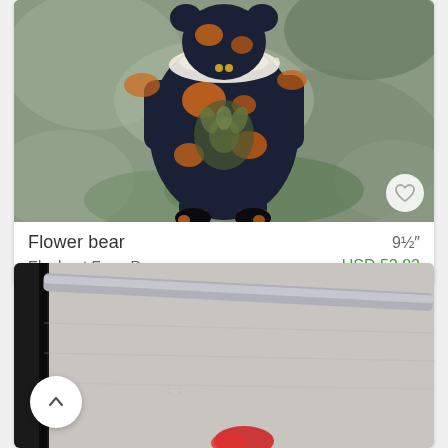[Figure (photo): Photo of a handmade stuffed bear toy dressed in dark floral fabric with orange patterns and lace collar, posed on a rocky surface outdoors.]
Flower bear
9½″
Elephant From Prague
USD 52.82
[Figure (photo): Partial photo showing a close-up of what appears to be a metal rail or rod on a textured surface, with a red object partially visible at the bottom.]